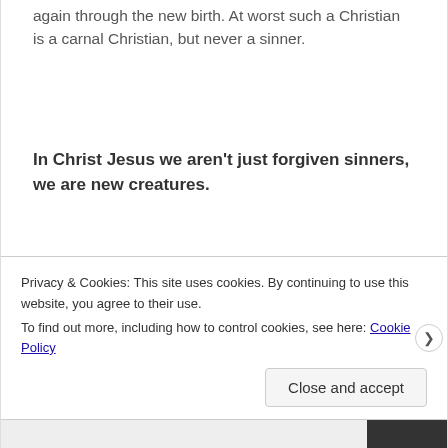again through the new birth. At worst such a Christian is a carnal Christian, but never a sinner.
In Christ Jesus we aren't just forgiven sinners, we are new creatures.
2nd Corinth 5:17 says…
Privacy & Cookies: This site uses cookies. By continuing to use this website, you agree to their use.
To find out more, including how to control cookies, see here: Cookie Policy